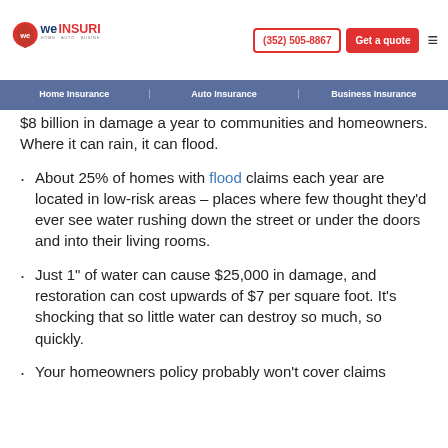We Insure | Home Auto Business | (352) 505-8867 | Get a quote
Home Insurance | Auto Insurance | Business Insurance
$8 billion in damage a year to communities and homeowners. Where it can rain, it can flood.
About 25% of homes with flood claims each year are located in low-risk areas – places where few thought they'd ever see water rushing down the street or under the doors and into their living rooms.
Just 1" of water can cause $25,000 in damage, and restoration can cost upwards of $7 per square foot. It's shocking that so little water can destroy so much, so quickly.
Your homeowners policy probably won't cover claims